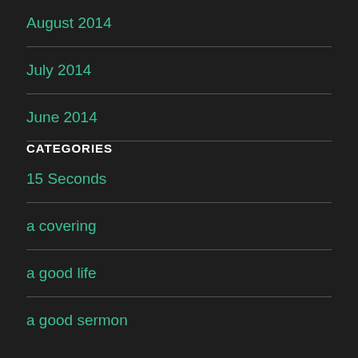August 2014
July 2014
June 2014
CATEGORIES
15 Seconds
a covering
a good life
a good sermon